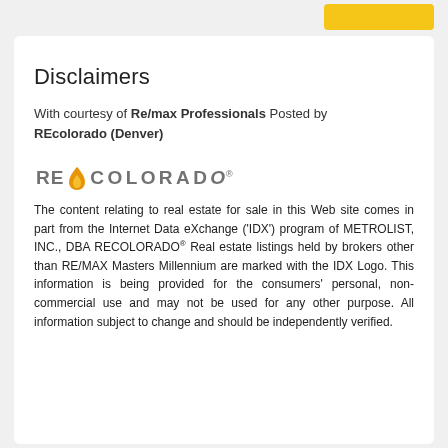[Figure (logo): Yellow button partially visible at top right]
Disclaimers
With courtesy of Re/max Professionals Posted by REcolorado (Denver)
[Figure (logo): REcolorado logo with flame/droplet icon]
The content relating to real estate for sale in this Web site comes in part from the Internet Data eXchange ('IDX') program of METROLIST, INC., DBA RECOLORADO® Real estate listings held by brokers other than RE/MAX Masters Millennium are marked with the IDX Logo. This information is being provided for the consumers' personal, non-commercial use and may not be used for any other purpose. All information subject to change and should be independently verified.